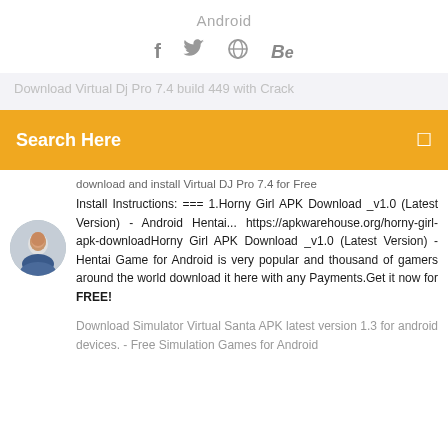Android
[Figure (other): Social media icons: Facebook (f), Twitter (bird), Dribbble (circle), Behance (Be)]
Download Virtual Dj Pro 7.4 build 449 with Crack
Search Here
download and install Virtual DJ Pro 7.4 for Free Install Instructions: === 1.Horny Girl APK Download _v1.0 (Latest Version) - Android Hentai... https://apkwarehouse.org/horny-girl-apk-downloadHorny Girl APK Download _v1.0 (Latest Version) - Hentai Game for Android is very popular and thousand of gamers around the world download it here with any Payments.Get it now for FREE!
Download Simulator Virtual Santa APK latest version 1.3 for android devices. - Free Simulation Games for Android